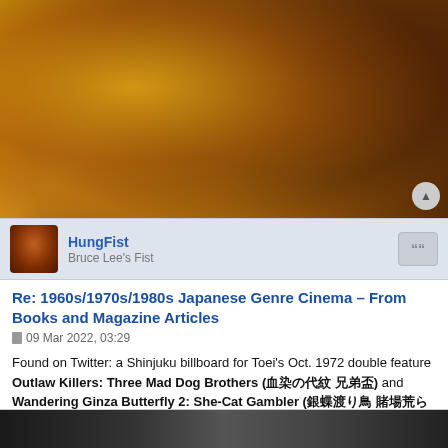[Figure (photo): Close-up golden-toned photo of a person's shoulder and neck area against a dark background, warm amber/yellow color grading]
HungFist
Bruce Lee's Fist
Re: 1960s/1970s/1980s Japanese Genre Cinema – From Books and Magazine Articles
09 Mar 2022, 03:29
Found on Twitter: a Shinjuku billboard for Toei's Oct. 1972 double feature Outlaw Killers: Three Mad Dog Brothers (血染の代紋 兄弟盃) and Wandering Ginza Butterfly 2: She-Cat Gambler (銀蝶渡り鳥 賭場荒らし).
- https://twitter.com/wataridori333/statu ... 9810154496
[Figure (photo): Black and white photo partially visible at bottom of page]